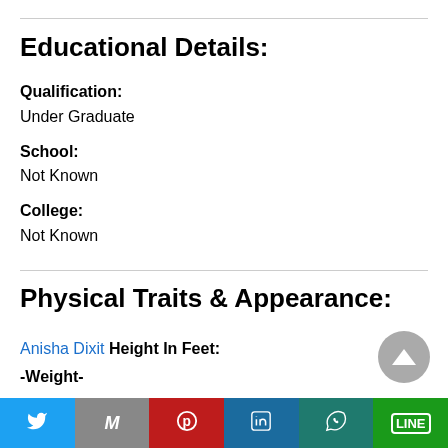Educational Details:
Qualification:
Under Graduate
School:
Not Known
College:
Not Known
Physical Traits & Appearance:
Anisha Dixit Height In Feet:
-Weight-